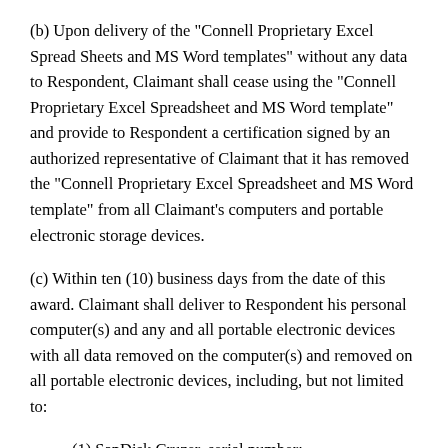(b) Upon delivery of the "Connell Proprietary Excel Spread Sheets and MS Word templates" without any data to Respondent, Claimant shall cease using the "Connell Proprietary Excel Spreadsheet and MS Word template" and provide to Respondent a certification signed by an authorized representative of Claimant that it has removed the "Connell Proprietary Excel Spreadsheet and MS Word template" from all Claimant's computers and portable electronic storage devices.
(c) Within ten (10) business days from the date of this award. Claimant shall deliver to Respondent his personal computer(s) and any and all portable electronic devices with all data removed on the computer(s) and removed on all portable electronic devices, including, but not limited to:
(1) SanDisk Cruzer, serial number: